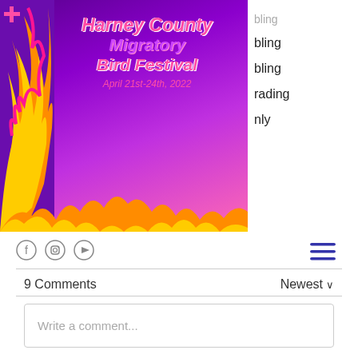[Figure (logo): Harney County Migratory Bird Festival logo with decorative script text on purple/pink gradient background with bird illustration. Text reads: Harney County Migratory Bird Festival, April 21st-24th, 2022]
bling
bling
rading
nly
[Figure (other): Social media icons: Facebook, Instagram, YouTube circles]
[Figure (other): Hamburger menu icon (three horizontal blue lines)]
9 Comments
Newest
Write a comment...
oleinikov21ilija
Nov 09, 2021
My friend is an avid poker player. For a